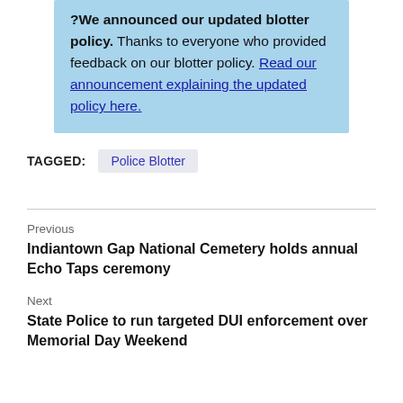?We announced our updated blotter policy. Thanks to everyone who provided feedback on our blotter policy. Read our announcement explaining the updated policy here.
TAGGED: Police Blotter
Previous
Indiantown Gap National Cemetery holds annual Echo Taps ceremony
Next
State Police to run targeted DUI enforcement over Memorial Day Weekend